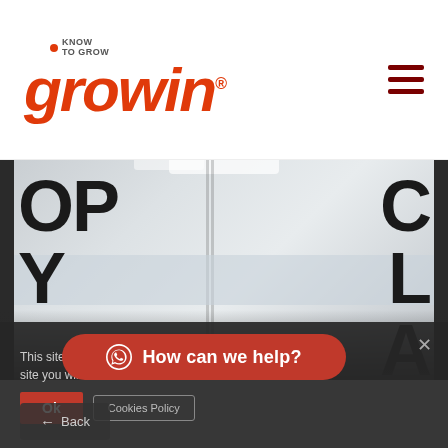[Figure (logo): Growin logo with tagline KNOW TO GROW in red/orange italic font]
[Figure (photo): Office interior with glass partition doors showing partial letters OP and C, bright white office space]
This site uses cookies for a ... site you will consent to its use.
[Figure (other): Red pill-shaped WhatsApp chat button with text: How can we help?]
Cookies Policy
Ok
← Back